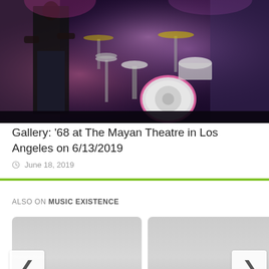[Figure (photo): Concert photo showing a performer on stage left with a drum kit visible in the background, lit with purple/pink stage lighting]
Gallery: ‘68 at The Mayan Theatre in Los Angeles on 6/13/2019
June 18, 2019
ALSO ON MUSIC EXISTENCE
[Figure (photo): Card thumbnail: Masked Rapper GHZTZD article, 3+ years ago, 1 comment]
[Figure (photo): Card thumbnail: Gallery: SONS OF THE article, 3 years ago, 1 comment]